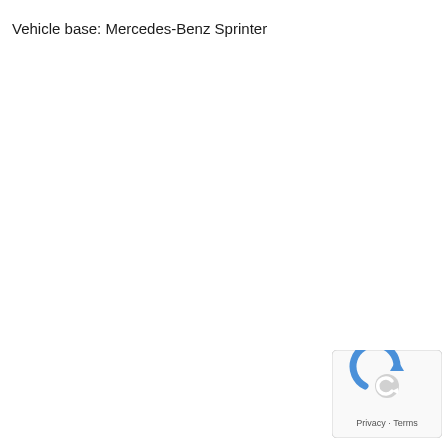Vehicle base: Mercedes-Benz Sprinter
[Figure (logo): reCAPTCHA widget with circular arrow icon in blue/grey, and 'Privacy - Terms' text below, displayed in a rounded rectangle box]